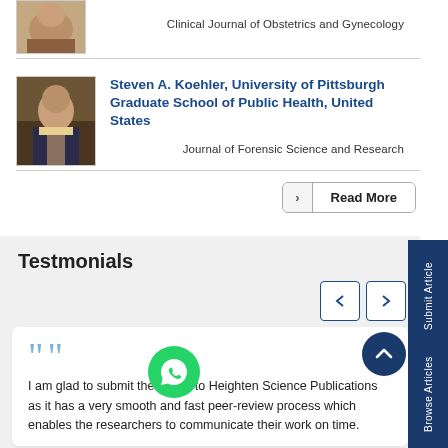[Figure (photo): Partial photo of a person at the top of the page (cropped, only lower face/hair visible)]
Clinical Journal of Obstetrics and Gynecology
Steven A. Koehler, University of Pittsburgh Graduate School of Public Health, United States
[Figure (photo): Photo of Steven A. Koehler, a man in a suit with a tie, against a dark background]
Journal of Forensic Science and Research
Read More
Testmonials
I am glad to submit the article to Heighten Science Publications as it has a very smooth and fast peer-review process which enables the researchers to communicate their work on time.